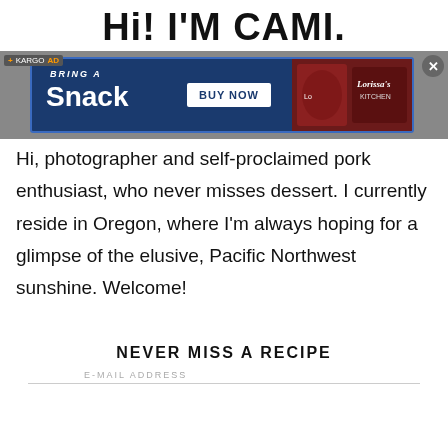Hi! I'M CAMI.
[Figure (screenshot): Kargo advertisement banner for Lorissa's Kitchen snacks with 'Bring a Snack' text and 'BUY NOW' button on dark blue background]
Hi, photographer and self-proclaimed pork enthusiast, who never misses dessert. I currently reside in Oregon, where I'm always hoping for a glimpse of the elusive, Pacific Northwest sunshine. Welcome!
NEVER MISS A RECIPE
E-MAIL ADDRESS